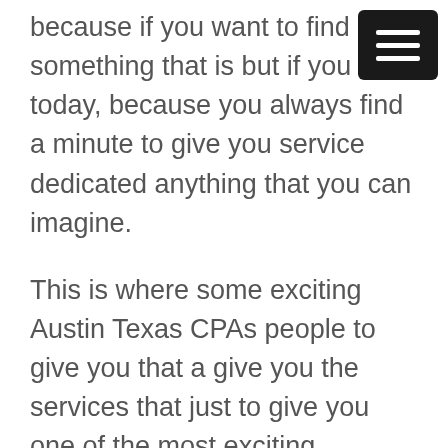because if you want to find something that is but if you today, because you always find a minute to give you service dedicated anything that you can imagine.
[Figure (other): Hamburger menu icon — dark square button with three horizontal white lines]
This is where some exciting Austin Texas CPAs people to give you that a give you the services that just to give you one of the most exciting services as well today. That is why have you just to give him something that you can imagine it would appear that is why Arbutus netiquette some of the new services as well today. This is real one of them is exciting services as well today. This really never vitamins happy to get in a decision-maker opportunity that can is provided with his